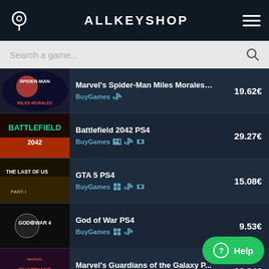ALLKEYSHOP
Search a game...
Marvel's Spider-Man Miles Morales ... | BuyGames | 19.62€
Battlefield 2042 PS4 | BuyGames | 29.27€
GTA 5 PS4 | BuyGames | 15.08€
God of War PS4 | BuyGames | 9.53€
Marvel's Guardians of the Galaxy P... | BuyGames | 22.94€
Marvels Spider-Man Miles Morales ... | BuyGames | 19.62€
Red Dead Redemption 2 PS4 | BuyGames | 16.39€
Riders Republic PS5 | BuyGames | ~.25€